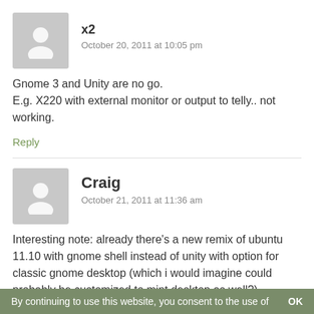[Figure (illustration): Gray avatar placeholder icon for user x2]
x2
October 20, 2011 at 10:05 pm
Gnome 3 and Unity are no go.
E.g. X220 with external monitor or output to telly.. not working.
Reply
[Figure (illustration): Gray avatar placeholder icon for user Craig]
Craig
October 21, 2011 at 11:36 am
Interesting note: already there’s a new remix of ubuntu 11.10 with gnome shell instead of unity with option for classic gnome desktop (which i would imagine could probably be customized to mint desktop as well?)....
By continuing to use this website, you consent to the use of    OK